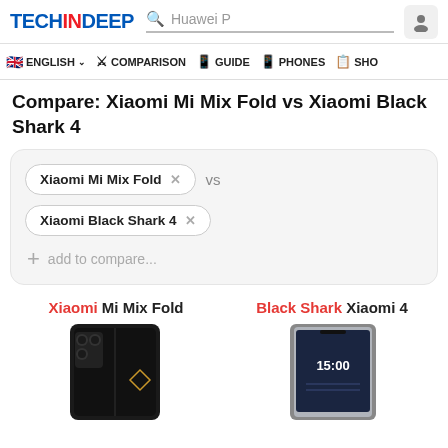TECHINDEEP | Search: Huawei P
ENGLISH | COMPARISON | GUIDE | PHONES | SHO
Compare: Xiaomi Mi Mix Fold vs Xiaomi Black Shark 4
Xiaomi Mi Mix Fold × vs
Xiaomi Black Shark 4 ×
+ add to compare...
Xiaomi Mi Mix Fold | Black Shark Xiaomi 4
[Figure (photo): Photo of Xiaomi Mi Mix Fold smartphone (black folding phone)]
[Figure (photo): Photo of Xiaomi Black Shark 4 gaming smartphone (silver/black)]